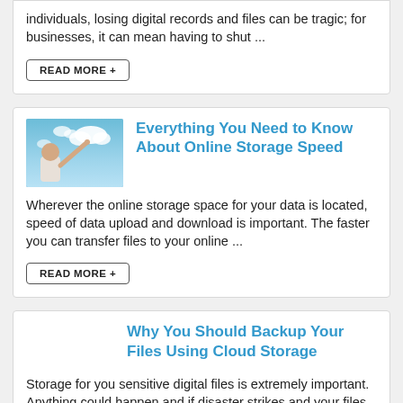The importance of data can be critical. For private individuals, losing digital records and files can be tragic; for businesses, it can mean having to shut ...
READ MORE +
Everything You Need to Know About Online Storage Speed
[Figure (photo): Man pointing at cloud icons in a blue sky]
Wherever the online storage space for your data is located, speed of data upload and download is important. The faster you can transfer files to your online ...
READ MORE +
Why You Should Backup Your Files Using Cloud Storage
Storage for you sensitive digital files is extremely important. Anything could happen and if disaster strikes and your files and important data are not